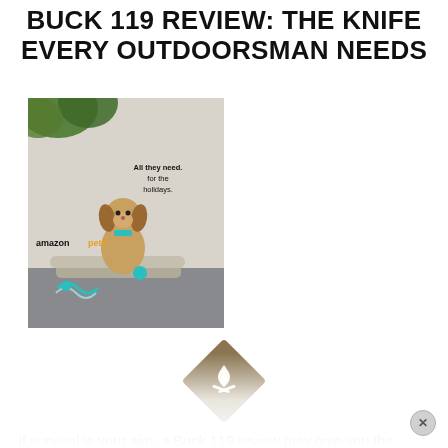BUCK 119 REVIEW: THE KNIFE EVERY OUTDOORSMAN NEEDS
[Figure (photo): Amazon pet advertisement showing a beagle dog sitting on a grey dog bed with teal/turquoise toys, greenery in background. Text reads 'All they need. for the holidays.' with Amazon logo.]
[Figure (logo): Diamond/rhombus shaped dark tan/brown icon with a white campfire/flame symbol inside.]
If survival is your aim, a Buck 119 review may give you the answers that you’re looking for when it comes to picking a quality knife.
Many will say that there’s no better knife out there for an outdoorsman to have, and others will say that no knife collection is complete without it. But is the Buck 119